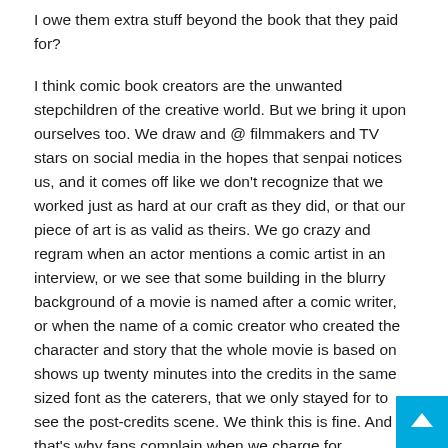I owe them extra stuff beyond the book that they paid for?
I think comic book creators are the unwanted stepchildren of the creative world. But we bring it upon ourselves too. We draw and @ filmmakers and TV stars on social media in the hopes that senpai notices us, and it comes off like we don't recognize that we worked just as hard at our craft as they did, or that our piece of art is as valid as theirs. We go crazy and regram when an actor mentions a comic artist in an interview, or we see that some building in the blurry background of a movie is named after a comic writer, or when the name of a comic creator who created the character and story that the whole movie is based on shows up twenty minutes into the credits in the same sized font as the caterers, that we only stayed for to see the post-credits scene. We think this is fine. And that's why fans complain when we charge for autographs at conventions like film and TV people always have. They complain because they're not getting something for free, the